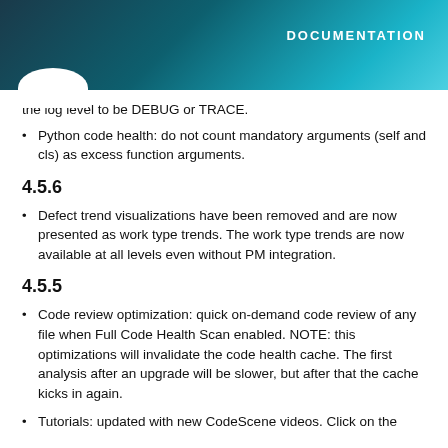DOCUMENTATION
the log level to be DEBUG or TRACE.
Python code health: do not count mandatory arguments (self and cls) as excess function arguments.
4.5.6
Defect trend visualizations have been removed and are now presented as work type trends. The work type trends are now available at all levels even without PM integration.
4.5.5
Code review optimization: quick on-demand code review of any file when Full Code Health Scan enabled. NOTE: this optimizations will invalidate the code health cache. The first analysis after an upgrade will be slower, but after that the cache kicks in again.
Tutorials: updated with new CodeScene videos. Click on the